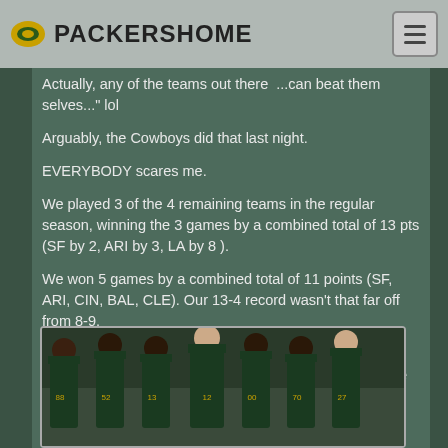PACKERSHOME
Actually, any of the teams out there  ...can beat them selves..." lol
Arguably, the Cowboys did that last night.
EVERYBODY scares me.
We played 3 of the 4 remaining teams in the regular season, winning the 3 games by a combined total of 13 pts (SF by 2, ARI by 3, LA by 8 ).
We won 5 games by a combined total of 11 points (SF, ARI, CIN, BAL, CLE). Our 13-4 record wasn't that far off from 8-9.
The Packers have flaws, and big question marks on whether the injured starters will be able to fill some of the gaps.
[Figure (photo): Group photo of Green Bay Packers players in uniform standing together on a field]